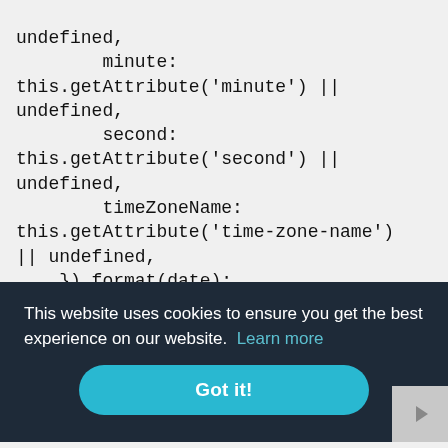undefined,
        minute:
this.getAttribute('minute') ||
undefined,
        second:
this.getAttribute('second') ||
undefined,
        timeZoneName:
this.getAttribute('time-zone-name')
|| undefined,
    }).format(date);
    }
  }
  customElements.define("time-
formatted", TimeFormatted);
This website uses cookies to ensure you get the best experience on our website.  Learn more
Got it!
hour="numeric" minute="numeric"